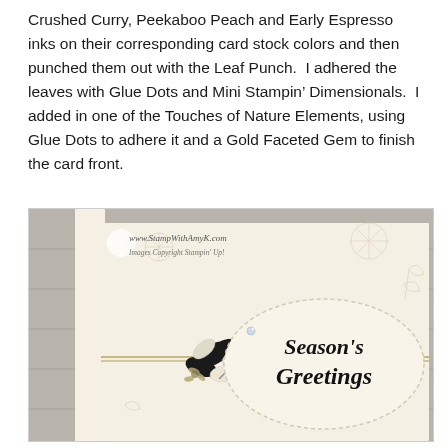Crushed Curry, Peekaboo Peach and Early Espresso inks on their corresponding card stock colors and then punched them out with the Leaf Punch.  I adhered the leaves with Glue Dots and Mini Stampin' Dimensionals.  I added in one of the Touches of Nature Elements, using Glue Dots to adhere it and a Gold Faceted Gem to finish the card front.
[Figure (photo): A handmade greeting card with 'Season's Greetings' in script on an oval label, decorated with black and white leaves, twine, and subtle snowflake stamped background on cream card stock. Website watermark: www.StampWithAmyK.com]